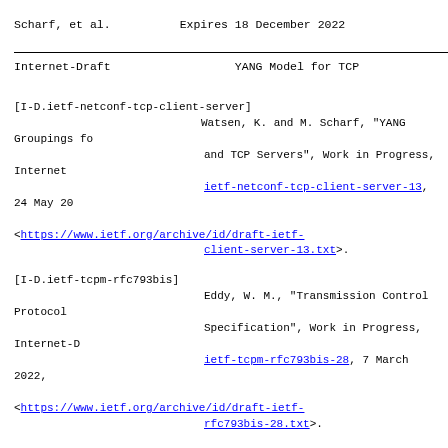Scharf, et al.          Expires 18 December 2022
Internet-Draft                    YANG Model for TCP
[I-D.ietf-netconf-tcp-client-server] Watsen, K. and M. Scharf, "YANG Groupings for TCP Clients and TCP Servers", Work in Progress, Internet-Draft, draft-ietf-netconf-tcp-client-server-13, 24 May 2022, <https://www.ietf.org/archive/id/draft-ietf-netconf-tcp-client-server-13.txt>.
[I-D.ietf-tcpm-rfc793bis] Eddy, W. M., "Transmission Control Protocol Specification", Work in Progress, Internet-Draft, draft-ietf-tcpm-rfc793bis-28, 7 March 2022, <https://www.ietf.org/archive/id/draft-ietf-tcpm-rfc793bis-28.txt>.
[RFC2119] Bradner, S., "Key words for use in RFCs to Indicate Requirement Levels", BCP 14, RFC 2119, DOI 10.17487/RFC2119, March 1997, <https://www.rfc-editor.org/info/rfc2119>.
[RFC2385] Heffernan, A., "Protection of BGP Sessions via the TCP MD5 Signature Option", RFC 2385, DOI 10.17487/RFC2385